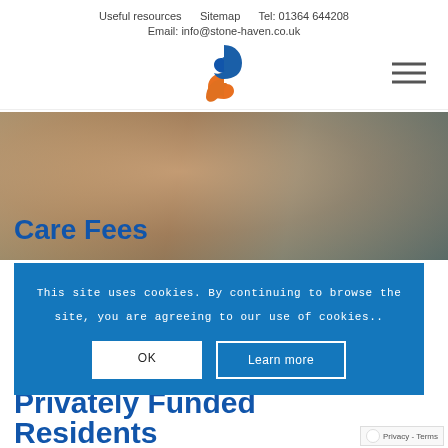Useful resources    Sitemap    Tel: 01364 644208
Email: info@stone-haven.co.uk
[Figure (logo): Stone Haven logo — a stylized number 9 or yin-yang shape in blue and orange]
[Figure (photo): Background photo of caregiver holding the hands of an elderly person]
Care Fees
This site uses cookies. By continuing to browse the site, you are agreeing to our use of cookies..
OK    Learn more
Privately Funded Residents